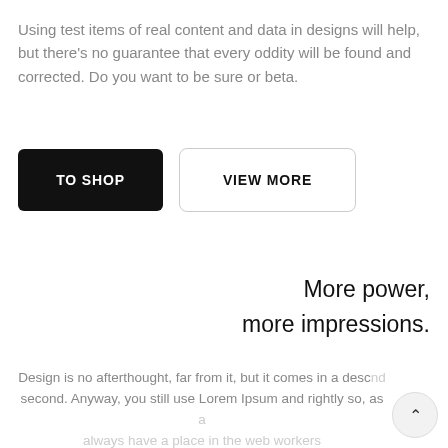Using test items of real content and data in designs will help, but there's no guarantee that every oddity will be found and corrected. Do you want to be sure or beta.
[Figure (other): Two buttons: a black rounded rectangle button labeled 'TO SHOP' and a white rounded rectangle button with border labeled 'VIEW MORE']
More power, more impressions.
Design is no afterthought, far from it, but it comes in a desc nd second. Anyway, you still use Lorem Ipsum and rightly so, as a always have a place in the web workers